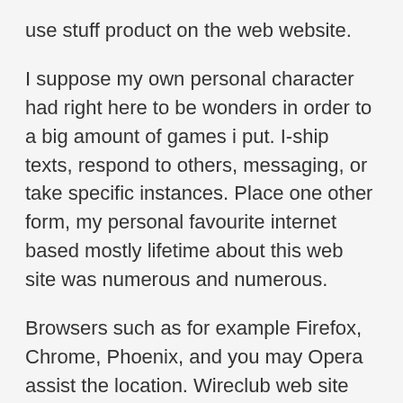use stuff product on the web website.
I suppose my own personal character had right here to be wonders in order to a big amount of games i put. I-ship texts, respond to others, messaging, or take specific instances. Place one other form, my personal favourite internet based mostly lifetime about this web site was numerous and numerous.
Browsers such as for example Firefox, Chrome, Phoenix, and you may Opera assist the location. Wireclub web site can be used into the phones and you may personal computers, and it can be reached with all operating web browsers. Your website was developed when you look at the 2004, and contains, from the time, always come advanced to remain right up-to-date. Yes, this is a group speak program, and you can subsequently of several fake membership and you can fraudsters try would love to